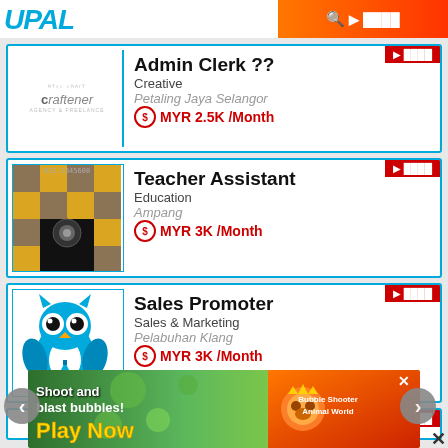UPAL
Admin Clerk ??
Creative
Petaling Jaya Selangor
MYR 2.5K /Month
Teacher Assistant
Education
Ampang
MYR 3K /Month
Sales Promoter
Sales & Marketing
Pelabuhan Klang
MYR 3K /Month
[Figure (screenshot): Mobile job listing app screenshot showing UPAL logo, search button, and three job cards for Admin Clerk, Teacher Assistant, and Sales Promoter]
[Figure (photo): Advertisement banner: Shoot and blast bubbles! Play Now - Bubble Shooter Animal World game ad]